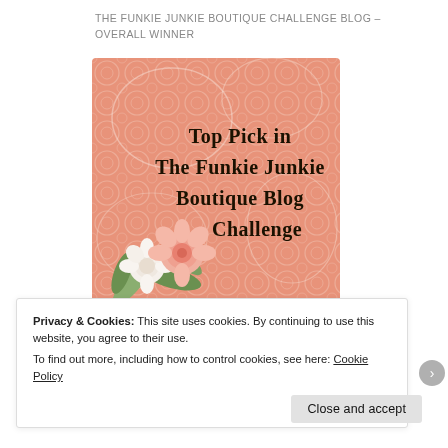THE FUNKIE JUNKIE BOUTIQUE CHALLENGE BLOG – OVERALL WINNER
[Figure (illustration): Award badge with salmon/coral lace-patterned background with white floral lace design and pink roses in lower-left corner. Text reads: Top Pick in The Funkie Junkie Boutique Blog Challenge]
Privacy & Cookies: This site uses cookies. By continuing to use this website, you agree to their use.
To find out more, including how to control cookies, see here: Cookie Policy
Close and accept